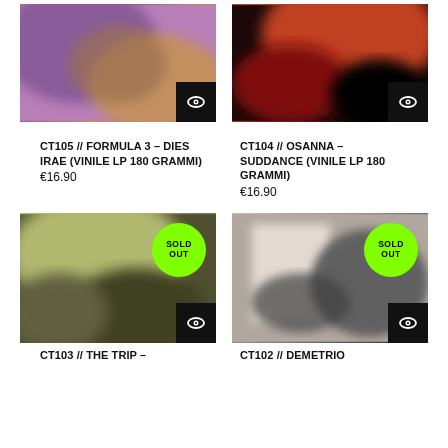[Figure (photo): Album cover for CT105 Formula 3 - Dies Irae, blurred purple/brown tones with eye icon button]
[Figure (photo): Album cover for CT104 Osanna - Suddance, blurred red/dark tones with eye icon button]
CT105 // FORMULA 3 – DIES IRAE (VINILE LP 180 GRAMMI)
€16.90
CT104 // OSANNA – SUDDANCE (VINILE LP 180 GRAMMI)
€16.90
[Figure (photo): Album cover for CT103 The Trip, blurred green/dark tones with SOLD OUT badge and eye icon button]
[Figure (photo): Album cover for CT102 Demetrio, blurred grayscale tones with SOLD OUT badge and eye icon button]
CT103 // THE TRIP –
CT102 // DEMETRIO